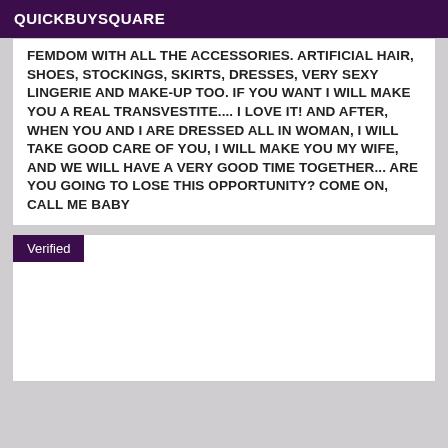QUICKBUYSQUARE
FEMDOM WITH ALL THE ACCESSORIES. ARTIFICIAL HAIR, SHOES, STOCKINGS, SKIRTS, DRESSES, VERY SEXY LINGERIE AND MAKE-UP TOO. IF YOU WANT I WILL MAKE YOU A REAL TRANSVESTITE.... I LOVE IT! AND AFTER, WHEN YOU AND I ARE DRESSED ALL IN WOMAN, I WILL TAKE GOOD CARE OF YOU, I WILL MAKE YOU MY WIFE, AND WE WILL HAVE A VERY GOOD TIME TOGETHER... ARE YOU GOING TO LOSE THIS OPPORTUNITY? COME ON, CALL ME BABY
Verified